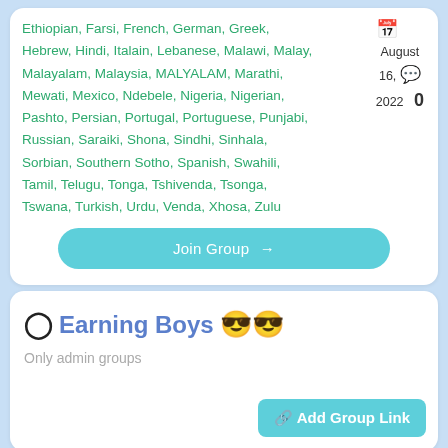Ethiopian, Farsi, French, German, Greek, Hebrew, Hindi, Italain, Lebanese, Malawi, Malay, Malayalam, Malaysia, MALYALAM, Marathi, Mewati, Mexico, Ndebele, Nigeria, Nigerian, Pashto, Persian, Portugal, Portuguese, Punjabi, Russian, Saraiki, Shona, Sindhi, Sinhala, Sorbian, Southern Sotho, Spanish, Swahili, Tamil, Telugu, Tonga, Tshivenda, Tsonga, Tswana, Turkish, Urdu, Venda, Xhosa, Zulu
August 16, 2022
0
Join Group →
Earning Boys😎😎
Only admin groups
🔗 Add Group Link